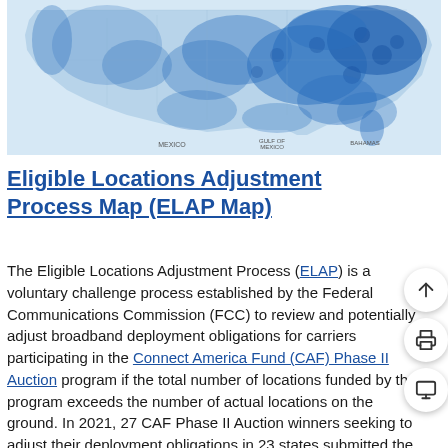[Figure (map): Map of the United States showing broadband coverage or eligible locations, with blue shading indicating coverage density. Labels show Mexico, Gulf of Mexico, and Bahamas.]
Eligible Locations Adjustment Process Map (ELAP Map)
The Eligible Locations Adjustment Process (ELAP) is a voluntary challenge process established by the Federal Communications Commission (FCC) to review and potentially adjust broadband deployment obligations for carriers participating in the Connect America Fund (CAF) Phase II Auction program if the total number of locations funded by the program exceeds the number of actual locations on the ground. In 2021, 27 CAF Phase II Auction winners seeking to adjust their deployment obligations in 23 states submitted the appropriate location information required to participate in ELAP. USAC used certain location information from those filings to populate this public